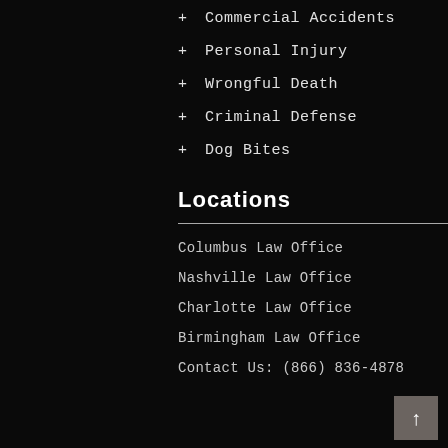+ Commercial Accidents
+ Personal Injury
+ Wrongful Death
+ Criminal Defense
+ Dog Bites
Locations
Columbus Law Office
Nashville Law Office
Charlotte Law Office
Birmingham Law Office
Contact Us: (866) 836-4878